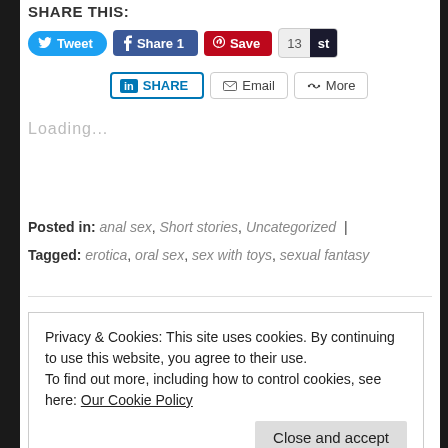SHARE THIS:
[Figure (screenshot): Social sharing buttons row 1: Tweet (Twitter), Share 1 (Facebook), Save (Pinterest), 13 count, st button]
[Figure (screenshot): Social sharing buttons row 2: LinkedIn SHARE, Email, More]
Loading...
Posted in: anal sex, Short stories, Uncategorized | Tagged: erotica, oral sex, sex with toys, sexual fantasy
Privacy & Cookies: This site uses cookies. By continuing to use this website, you agree to their use. To find out more, including how to control cookies, see here: Our Cookie Policy